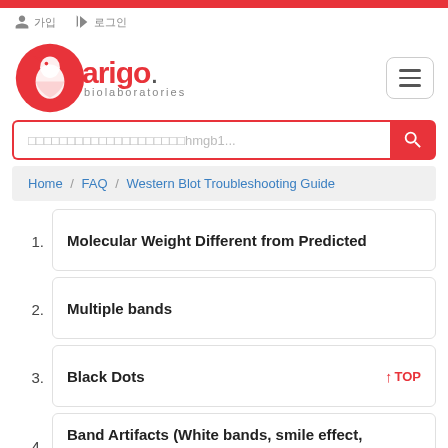[Figure (logo): Arigo Biolaboratories logo with red circle and rooster icon]
□□□□□□□□□□□□□□□□□□□□hmgb1...
Home / FAQ / Western Blot Troubleshooting Guide
1. Molecular Weight Different from Predicted
2. Multiple bands
3. Black Dots
4. Band Artifacts (White bands, smile effect, streaks)